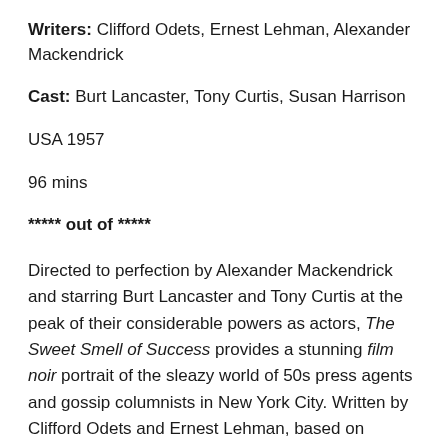Writers: Clifford Odets, Ernest Lehman, Alexander Mackendrick
Cast: Burt Lancaster, Tony Curtis, Susan Harrison
USA 1957
96 mins
***** out of *****
Directed to perfection by Alexander Mackendrick and starring Burt Lancaster and Tony Curtis at the peak of their considerable powers as actors, The Sweet Smell of Success provides a stunning film noir portrait of the sleazy world of 50s press agents and gossip columnists in New York City. Written by Clifford Odets and Ernest Lehman, based on Lehman's novella and featuring considerable uncredited rewrites by Mackendrick himself, the picture is blessed with one of the